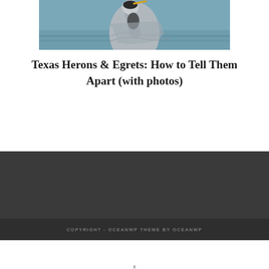[Figure (photo): Close-up photo of a heron bird against a blue-gray water background, showing the bird's gray and dark plumage detail]
Texas Herons & Egrets: How to Tell Them Apart (with photos)
COPYRIGHT - OCEANWP THEME BY OCEANWP